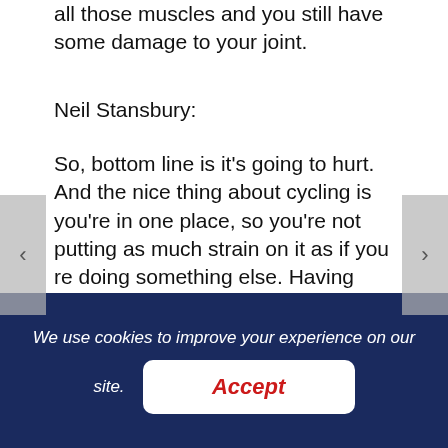all those muscles and you still have some damage to your joint.
Neil Stansbury:
So, bottom line is it's going to hurt. And the nice thing about cycling is you're in one place, so you're not putting as much strain on it as if you re doing something else. Having said that, t ur de France is a whole different animal. You have to get up and just to finish every single day is extremely difficult.
Neil Stansbury:
We use cookies to improve your experience on our site.
Accept